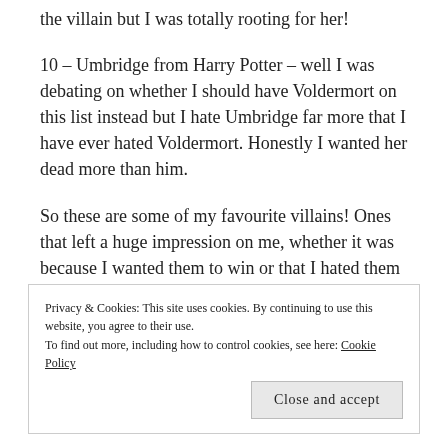the villain but I was totally rooting for her!
10 – Umbridge from Harry Potter – well I was debating on whether I should have Voldermort on this list instead but I hate Umbridge far more that I have ever hated Voldermort. Honestly I wanted her dead more than him.
So these are some of my favourite villains! Ones that left a huge impression on me, whether it was because I wanted them to win or that I hated them with a passion! And do let me know some of yours!
Privacy & Cookies: This site uses cookies. By continuing to use this website, you agree to their use. To find out more, including how to control cookies, see here: Cookie Policy